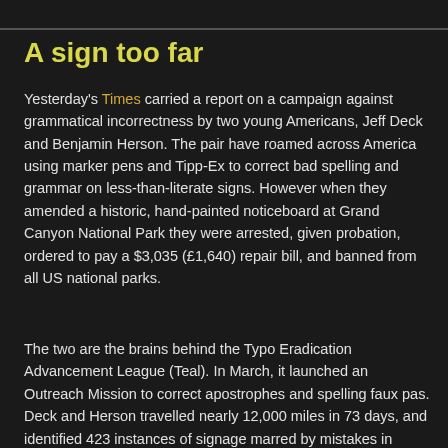A sign too far
Yesterday's Times carried a report on a campaign against grammatical incorrectness by two young Americans, Jeff Deck and Benjamin Herson. The pair have roamed across America using marker pens and Tipp-Ex to correct bad spelling and grammar on less-than-literate signs. However when they amended a historic, hand-painted noticeboard at Grand Canyon National Park they were arrested, given probation, ordered to pay a $3,035 (£1,640) repair bill, and banned from all US national parks.
The two are the brains behind the Typo Eradication Advancement League (Teal). In March, it launched an Outreach Mission to correct apostrophes and spelling faux pas. Deck and Herson travelled nearly 12,000 miles in 73 days, and identified 423 instances of signage marred by mistakes in spelling, punctuation and grammar. They made 231 corrections.